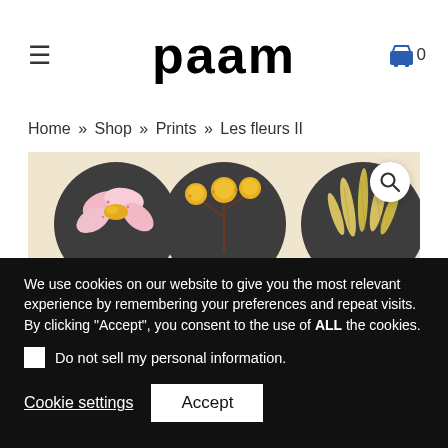paam
Home » Shop » Prints » Les fleurs II
[Figure (photo): Product image showing three dark circular medallions with flower illustrations on a warm beige background. Left circle has pink flower, center has yellow dandelion-like flowers on a branch, right has yellow grass/reed illustration.]
We use cookies on our website to give you the most relevant experience by remembering your preferences and repeat visits. By clicking "Accept", you consent to the use of ALL the cookies.
Do not sell my personal information.
Cookie settings
Accept